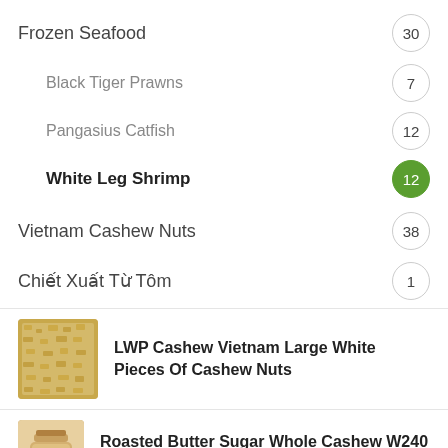Frozen Seafood — 30
Black Tiger Prawns — 7
Pangasius Catfish — 12
White Leg Shrimp — 12
Vietnam Cashew Nuts — 38
Chiết Xuất Từ Tôm — 1
LWP Cashew Vietnam Large White Pieces Of Cashew Nuts
Roasted Butter Sugar Whole Cashew W240 Plastic Jar Packed 250G